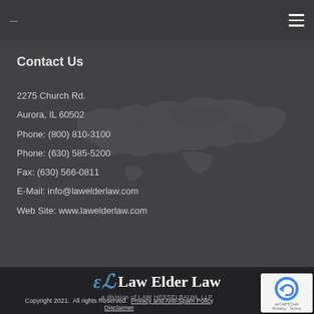≡
Contact Us
2275 Church Rd.
Aurora, IL 60502
Phone: (800) 810-3100
Phone: (630) 585-5200
Fax: (630) 566-0811
E-Mail: info@lawelderlaw.com
Web Site: www.lawelderlaw.com
[Figure (logo): Law Elder Law logo with decorative EL monogram and text 'a division of LAW HESSELBAUM, LLP']
Copyright 2021. All rights Reserved. Privacy and Anti-Spam Policy Disclaimer